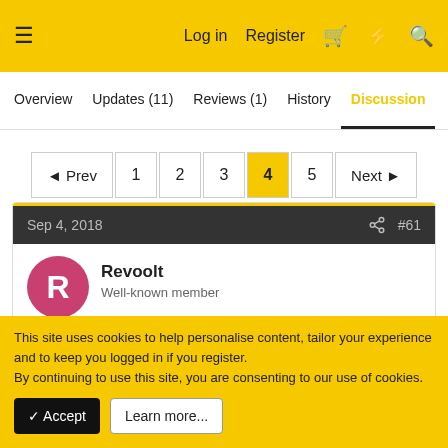≡  Log in  Register  🛒  ⚡  🔍
Overview  Updates (11)  Reviews (1)  History  Discussion
◄ Prev  1  2  3  4  5  Next ►
Sep 4, 2018  #61
Revoolt
Well-known member
any chance you let us see the scoreboard and stats on discord?
This site uses cookies to help personalise content, tailor your experience and to keep you logged in if you register.
By continuing to use this site, you are consenting to our use of cookies.